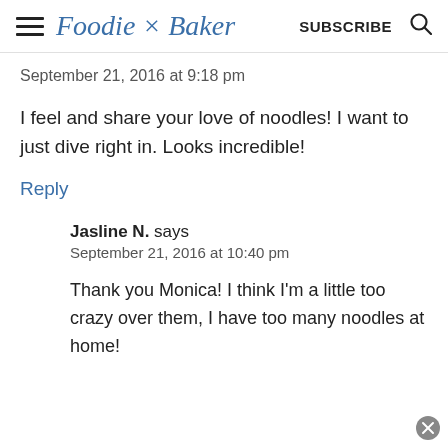Foodie × Baker | SUBSCRIBE
September 21, 2016 at 9:18 pm
I feel and share your love of noodles! I want to just dive right in. Looks incredible!
Reply
Jasline N. says
September 21, 2016 at 10:40 pm
Thank you Monica! I think I'm a little too crazy over them, I have too many noodles at home!